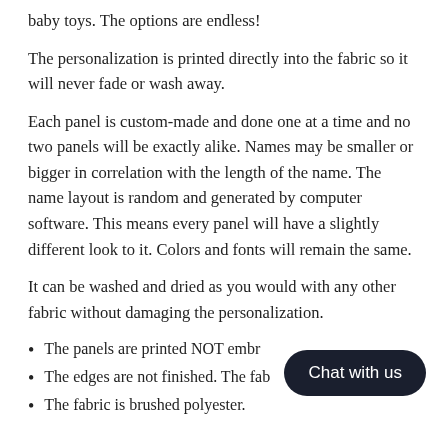baby toys. The options are endless!
The personalization is printed directly into the fabric so it will never fade or wash away.
Each panel is custom-made and done one at a time and no two panels will be exactly alike. Names may be smaller or bigger in correlation with the length of the name. The name layout is random and generated by computer software. This means every panel will have a slightly different look to it. Colors and fonts will remain the same.
It can be washed and dried as you would with any other fabric without damaging the personalization.
The panels are printed NOT embr[oicered]
The edges are not finished. The fab[ric will not fray]
The fabric is brushed polyester.